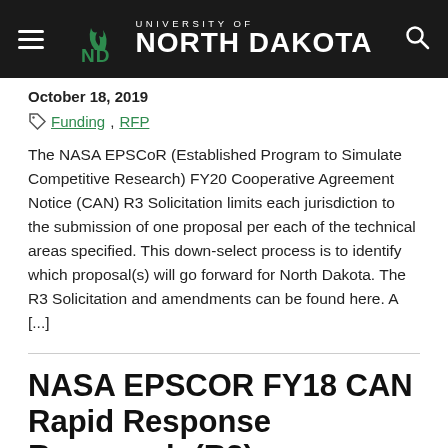University of North Dakota
October 18, 2019
Funding, RFP
The NASA EPSCoR (Established Program to Simulate Competitive Research) FY20 Cooperative Agreement Notice (CAN) R3 Solicitation limits each jurisdiction to the submission of one proposal per each of the technical areas specified. This down-select process is to identify which proposal(s) will go forward for North Dakota. The R3 Solicitation and amendments can be found here. A [...]
NASA EPSCOR FY18 CAN Rapid Response Reseasrch (R3) –